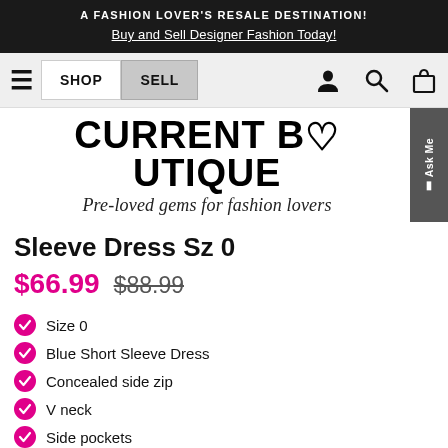A FASHION LOVER'S RESALE DESTINATION! Buy and Sell Designer Fashion Today!
[Figure (screenshot): Navigation bar with hamburger menu, SHOP and SELL buttons, person icon, search icon, and shopping bag icon]
[Figure (logo): Current Boutique logo with text 'CURRENT BOUTIQUE' and tagline 'Pre-loved gems for fashion lovers']
Sleeve Dress Sz 0
$66.99 $88.99
Size 0
Blue Short Sleeve Dress
Concealed side zip
V neck
Side pockets
Light wear on fabric
Waist 25.5"
Shoulder to hem 30.5"